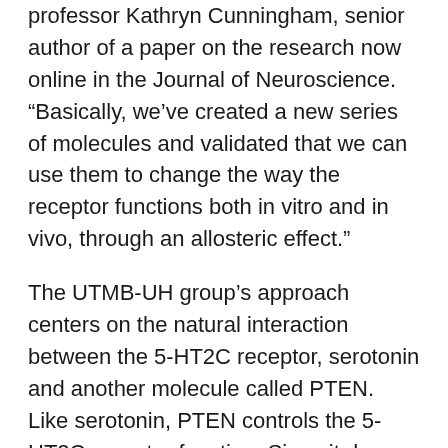professor Kathryn Cunningham, senior author of a paper on the research now online in the Journal of Neuroscience. “Basically, we’ve created a new series of molecules and validated that we can use them to change the way the receptor functions both in vitro and in vivo, through an allosteric effect.”
The UTMB-UH group’s approach centers on the natural interaction between the 5-HT2C receptor, serotonin and another molecule called PTEN. Like serotonin, PTEN controls the 5-HT2C receptor function. Since it does so at a location distant from the active site, it’s possible — and, in fact, common — for a receptor to bind to serotonin and PTEN simultaneously. When this happens, an allosteric effect is produced, such that serotonin signaling is weakened.